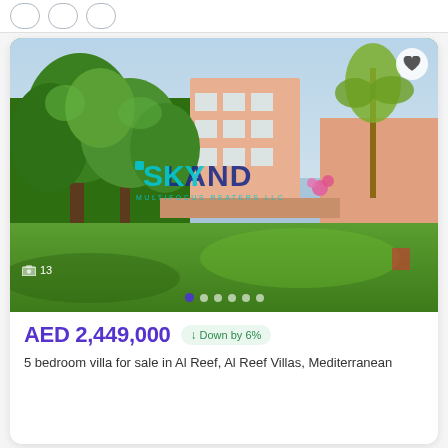[Figure (photo): Outdoor garden/backyard photo of a villa with green grass lawn, lush trees and shrubs on the left, beige/pink villa building in the background and palm trees. Watermark reads SKYLAND with logo. Image carousel with 13 photos indicated.]
AED 2,449,000
Down by 6%
5 bedroom villa for sale in Al Reef, Al Reef Villas, Mediterranean